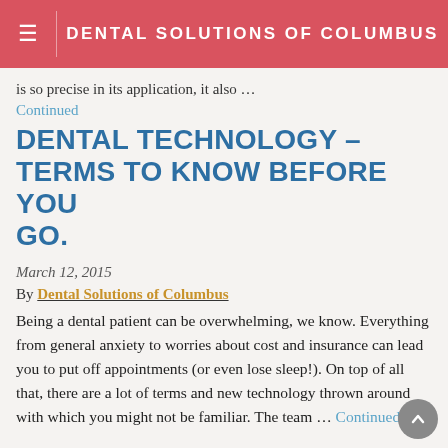DENTAL SOLUTIONS OF COLUMBUS
is so precise in its application, it also …
Continued
DENTAL TECHNOLOGY – TERMS TO KNOW BEFORE YOU GO.
March 12, 2015
By Dental Solutions of Columbus
Being a dental patient can be overwhelming, we know. Everything from general anxiety to worries about cost and insurance can lead you to put off appointments (or even lose sleep!). On top of all that, there are a lot of terms and new technology thrown around with which you might not be familiar. The team … Continued